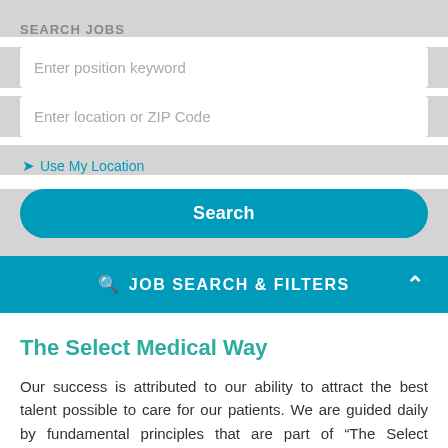SEARCH JOBS
Enter position keyword
Enter location or ZIP Code
Use My Location
Search
JOB SEARCH & FILTERS
The Select Medical Way
Our success is attributed to our ability to attract the best talent possible to care for our patients. We are guided daily by fundamental principles that are part of “The Select Medical Way.” These core values and cultural behaviors serve as the foundation for every member of the Select Medical family to deliver an exceptional patient experience and for...